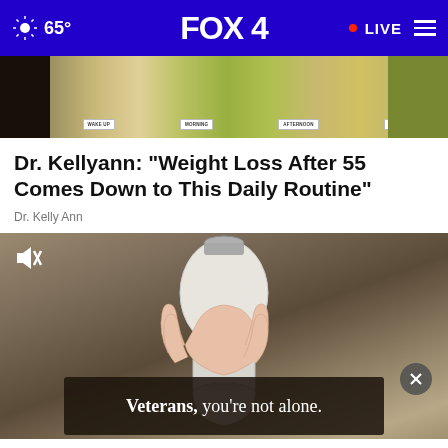65° FOX 4 • LIVE
[Figure (photo): Food spread on a counter with label cards reading WAKE UP, MORNING, AFTERNOON, EVENING]
Dr. Kellyann: "Weight Loss After 55 Comes Down to This Daily Routine"
Dr. Kelly Ann
[Figure (photo): Hand holding a white light bulb shaped device, video player with mute icon, and an advertisement overlay reading 'Veterans, you're not alone.']